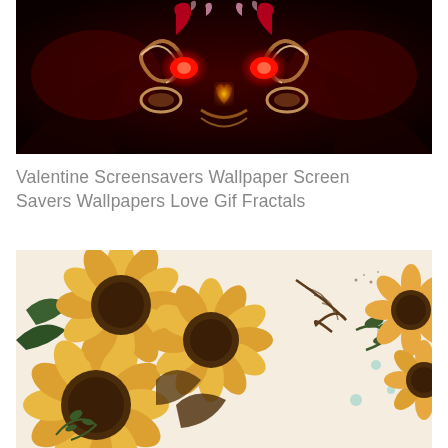[Figure (illustration): Dark fractal digital art featuring glowing red heart shapes and chrome-like metallic swirling forms against a very dark red/black background, with smaller pink hearts at the top.]
Valentine Screensavers Wallpaper Screen Savers Wallpapers Love Gif Fractals
[Figure (illustration): Flat-style illustration of sunflowers with orange-yellow petals and dark brown centers, with green leaves, a dark brown fern-like leaf, and small teal circular dots scattered on a cream/beige background.]